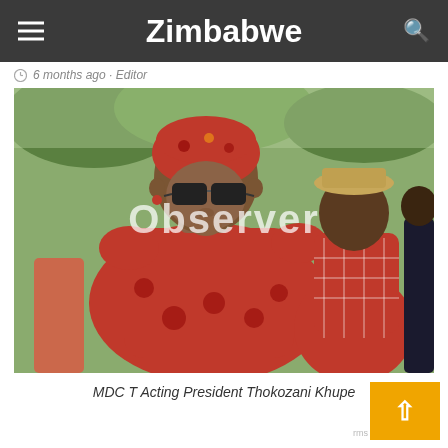Zimbabwe Observer
6 months ago · Editor
[Figure (photo): MDC T Acting President Thokozani Khupe wearing a red dress and head wrap with sunglasses, with other people in background. Watermark text 'Observer' overlaid.]
MDC T Acting President Thokozani Khupe